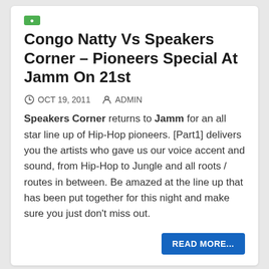Congo Natty Vs Speakers Corner – Pioneers Special At Jamm On 21st
OCT 19, 2011   ADMIN
Speakers Corner returns to Jamm for an all star line up of Hip-Hop pioneers. [Part1] delivers you the artists who gave us our voice accent and sound, from Hip-Hop to Jungle and all roots / routes in between. Be amazed at the line up that has been put together for this night and make sure you just don't miss out.
READ MORE...
[Figure (photo): Black and white photo showing several people's heads/faces, partially cropped at bottom of page]